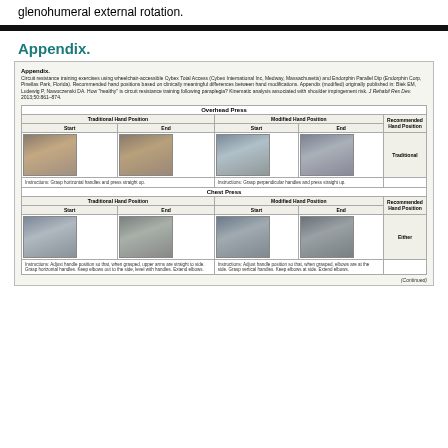glenohumeral external rotation.
Appendix.
[Figure (table-as-image): Appendix table showing circuit resistance training exercises (Overhead Press and Chest Press) using wheelchair-accessible Cybex Total Access and Endorphin Parallel Dip equipment. Table shows Traditional Hand Position (Start/End) and Modified Hand Position (Start/End) with photos and recommended hand positions. Overhead Press: Recommended = Traditional. Chest Press: Recommended = Either.]